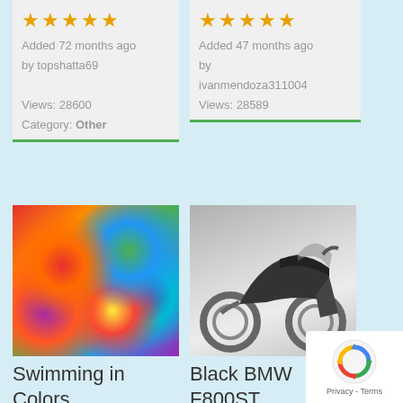★★★★★ Added 72 months ago by topshatta69 Views: 28600 Category: Other
★★★★★ Added 47 months ago by ivanmendoza311004 Views: 28589
[Figure (photo): Colorful abstract image of a woman swimming in vivid colors]
Swimming in Colors
[Figure (photo): Black BMW F800ST motorcycle on a light grey background]
Black BMW F800ST
[Figure (other): reCAPTCHA privacy badge with Privacy and Terms links]